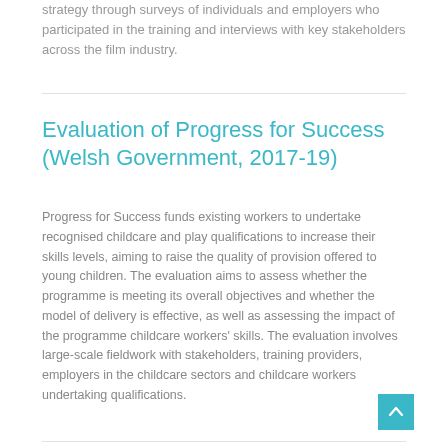strategy through surveys of individuals and employers who participated in the training and interviews with key stakeholders across the film industry.
Evaluation of Progress for Success (Welsh Government, 2017-19)
Progress for Success funds existing workers to undertake recognised childcare and play qualifications to increase their skills levels, aiming to raise the quality of provision offered to young children. The evaluation aims to assess whether the programme is meeting its overall objectives and whether the model of delivery is effective, as well as assessing the impact of the programme childcare workers' skills. The evaluation involves large-scale fieldwork with stakeholders, training providers, employers in the childcare sectors and childcare workers undertaking qualifications.